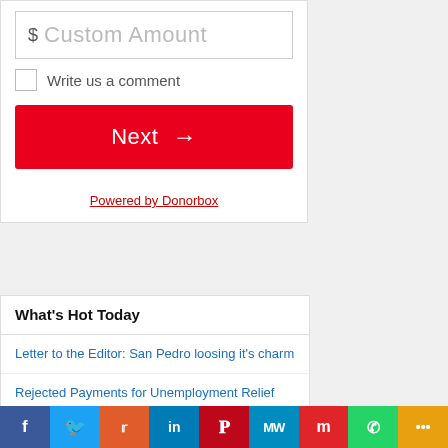$ Custom Amount
Write us a comment
Next →
Powered by Donorbox
What's Hot Today
Letter to the Editor: San Pedro loosing it's charm
Rejected Payments for Unemployment Relief Program due to Wrong Bank Information
f  Twitter  Reddit  in  Pinterest  MW  Mix  WhatsApp  More